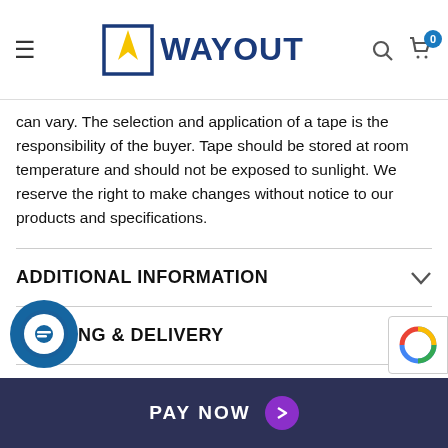WAYOUT — navigation header with logo, search, and cart
can vary. The selection and application of a tape is the responsibility of the buyer. Tape should be stored at room temperature and should not be exposed to sunlight. We reserve the right to make changes without notice to our products and specifications.
ADDITIONAL INFORMATION
SHIPPING & DELIVERY
GLOSSARY